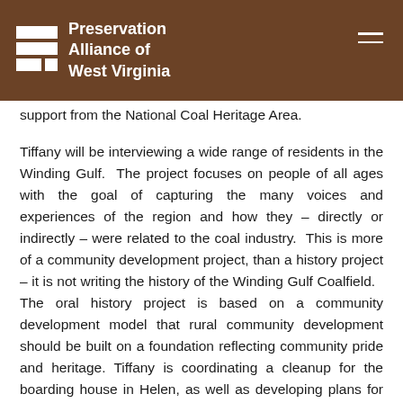Preservation Alliance of West Virginia
support from the National Coal Heritage Area.
Tiffany will be interviewing a wide range of residents in the Winding Gulf. The project focuses on people of all ages with the goal of capturing the many voices and experiences of the region and how they – directly or indirectly – were related to the coal industry. This is more of a community development project, than a history project – it is not writing the history of the Winding Gulf Coalfield. The oral history project is based on a community development model that rural community development should be built on a foundation reflecting community pride and heritage. Tiffany is coordinating a cleanup for the boarding house in Helen, as well as developing plans for the